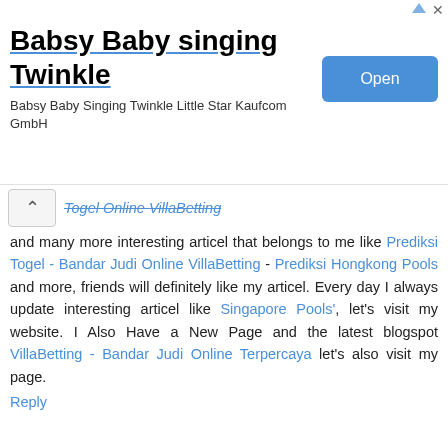[Figure (screenshot): Advertisement banner for 'Babsy Baby singing Twinkle' app by Kaufcom GmbH with an Open button]
Togel Online VillaBetting and many more interesting articel that belongs to me like Prediksi Togel - Bandar Judi Online VillaBetting - Prediksi Hongkong Pools and more, friends will definitely like my articel. Every day I always update interesting articel like Singapore Pools', let's visit my website. I Also Have a New Page and the latest blogspot VillaBetting - Bandar Judi Online Terpercaya let's also visit my page.
Reply
Malaivel Siddha Hospital  September 26, 2019 at 1:58 AM
Wonderful post, This article have helped greatly continue writing ..
Reply